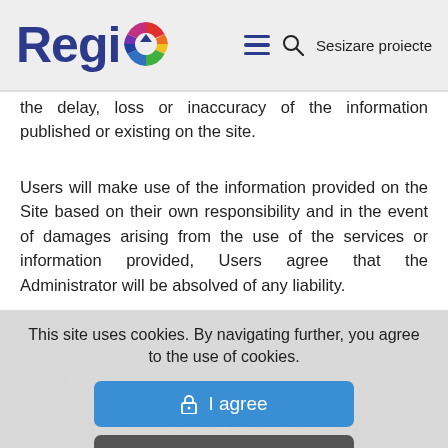[Figure (logo): Regio logo with colorful wheel icon, hamburger menu icon, search icon, and 'Sesizare proiecte' text in header]
the delay, loss or inaccuracy of the information published or existing on the site.
Users will make use of the information provided on the Site based on their own responsibility and in the event of damages arising from the use of the services or information provided, Users agree that the Administrator will be absolved of any liability.
This site uses cookies. By navigating further, you agree to the use of cookies.